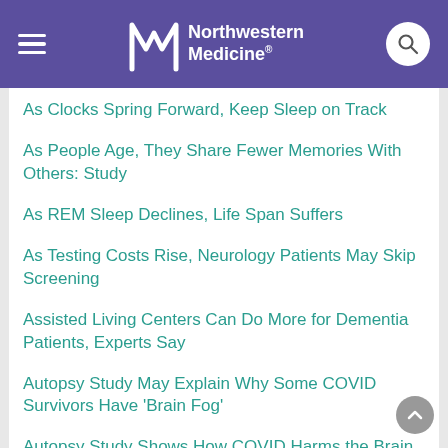Northwestern Medicine
As Clocks Spring Forward, Keep Sleep on Track
As People Age, They Share Fewer Memories With Others: Study
As REM Sleep Declines, Life Span Suffers
As Testing Costs Rise, Neurology Patients May Skip Screening
Assisted Living Centers Can Do More for Dementia Patients, Experts Say
Autopsy Study May Explain Why Some COVID Survivors Have 'Brain Fog'
Autopsy Study Shows How COVID Harms the Brain
B 8/10 -- Abnormal Upper Heart Chamber May...